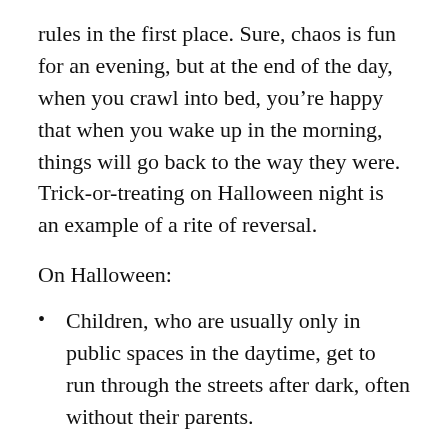rules in the first place. Sure, chaos is fun for an evening, but at the end of the day, when you crawl into bed, you’re happy that when you wake up in the morning, things will go back to the way they were. Trick-or-treating on Halloween night is an example of a rite of reversal.
On Halloween:
Children, who are usually only in public spaces in the daytime, get to run through the streets after dark, often without their parents.
Children get to go to stranger’s homes and rather rudely, threateningly demand candy